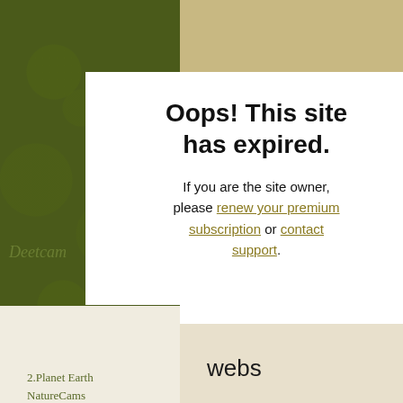[Figure (screenshot): Website expired page screenshot with olive green background, parchment textures, white modal dialog, and webs.com branding]
Oops! This site has expired.
If you are the site owner, please renew your premium subscription or contact support.
2.Planet Earth NatureCams
3.Planet Earth NatureCams
webs